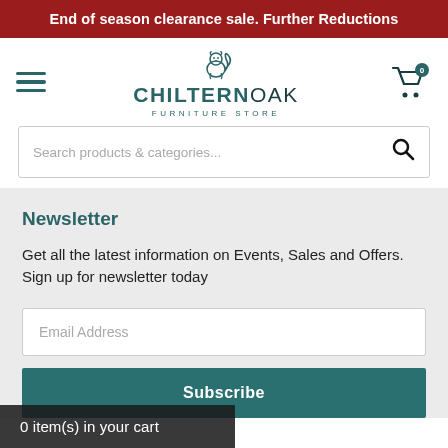End of season clearance sale. Further Reductions
[Figure (logo): Chiltern Oak Furniture Store logo with squirrel icon]
Search products & categories...
Newsletter
Get all the latest information on Events, Sales and Offers. Sign up for newsletter today
Email Address
Subscribe
0 item(s) in your cart